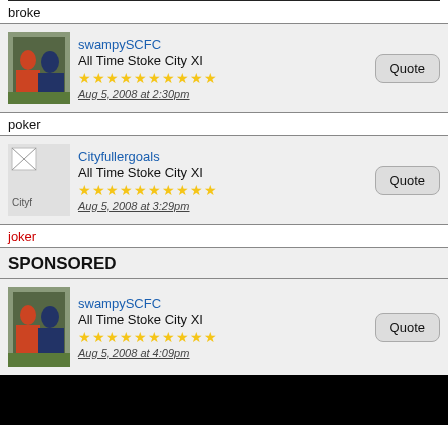broke
[Figure (photo): Avatar photo of swampySCFC - soccer player]
swampySCFC
All Time Stoke City XI
★★★★★★★★★★
Aug 5, 2008 at 2:30pm
poker
[Figure (photo): Broken image placeholder for Cityfullergoals]
Cityfullergoals
All Time Stoke City XI
★★★★★★★★★★
Aug 5, 2008 at 3:29pm
joker
SPONSORED
[Figure (photo): Avatar photo of swampySCFC - soccer player]
swampySCFC
All Time Stoke City XI
★★★★★★★★★★
Aug 5, 2008 at 4:09pm